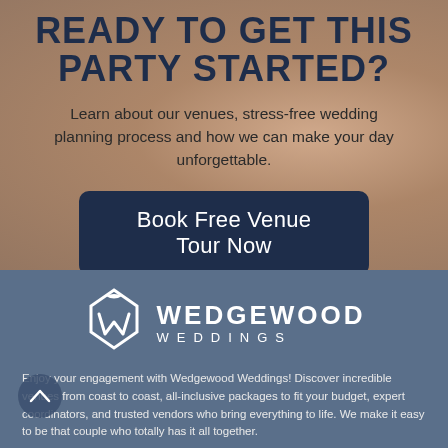READY TO GET THIS PARTY STARTED?
Learn about our venues, stress-free wedding planning process and how we can make your day unforgettable.
Book Free Venue Tour Now
[Figure (logo): Wedgewood Weddings logo — white ring/bow icon with text WEDGEWOOD WEDDINGS]
Enjoy your engagement with Wedgewood Weddings! Discover incredible venues from coast to coast, all-inclusive packages to fit your budget, expert coordinators, and trusted vendors who bring everything to life. We make it easy to be that couple who totally has it all together.